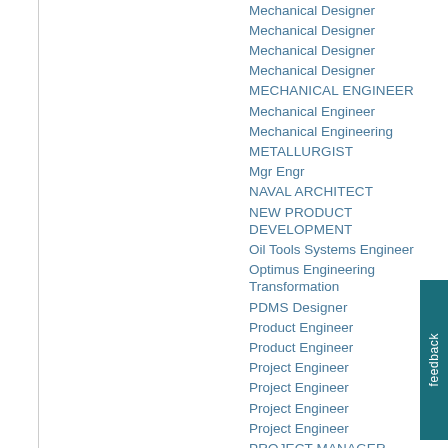Mechanical Designer
Mechanical Designer
Mechanical Designer
Mechanical Designer
MECHANICAL ENGINEER
Mechanical Engineer
Mechanical Engineering
METALLURGIST
Mgr Engr
NAVAL ARCHITECT
NEW PRODUCT DEVELOPMENT
Oil Tools Systems Engineer
Optimus Engineering Transformation
PDMS Designer
Product Engineer
Product Engineer
Project Engineer
Project Engineer
Project Engineer
Project Engineer
PROJECT MANAGER
Project Welding Engineer
Reliability Manager
SENIOR ENGINEER